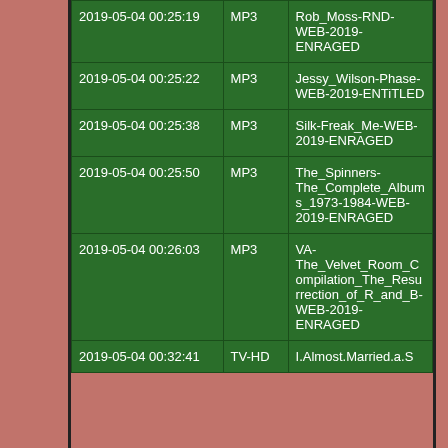| 2019-05-04 00:25:19 | MP3 | Rob_Moss-RND-WEB-2019-ENRAGED |
| 2019-05-04 00:25:22 | MP3 | Jessy_Wilson-Phase-WEB-2019-ENTiTLED |
| 2019-05-04 00:25:38 | MP3 | Silk-Freak_Me-WEB-2019-ENRAGED |
| 2019-05-04 00:25:50 | MP3 | The_Spinners-The_Complete_Albums_1973-1984-WEB-2019-ENRAGED |
| 2019-05-04 00:26:03 | MP3 | VA-The_Velvet_Room_Compilation_The_Resurrection_of_R_and_B-WEB-2019-ENRAGED |
| 2019-05-04 00:32:41 | TV-HD | I.Almost.Married.a.S... |